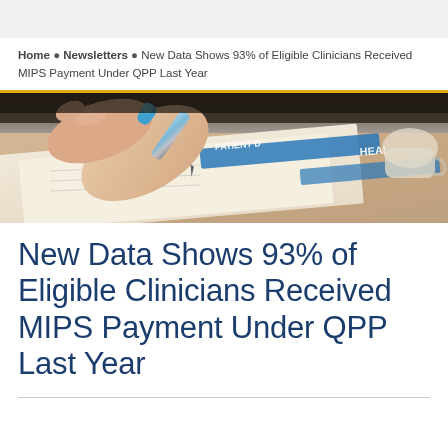Home • Newsletters • New Data Shows 93% of Eligible Clinicians Received MIPS Payment Under QPP Last Year
[Figure (photo): Close-up of a hand holding a blue-tipped pen filling out a health/patient form on paper, with a laptop and coffee cup blurred in the background.]
New Data Shows 93% of Eligible Clinicians Received MIPS Payment Under QPP Last Year